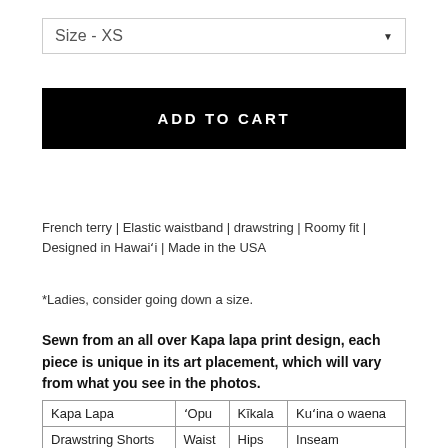Size  -  XS
ADD TO CART
French terry | Elastic waistband | drawstring | Roomy fit | Designed in Hawaiʻi | Made in the USA
*Ladies, consider going down a size.
Sewn from an all over Kapa lapa print design, each piece is unique in its art placement, which will vary from what you see in the photos.
| Kapa Lapa | ʻOpu | Kīkala | Kuʻina o waena |
| --- | --- | --- | --- |
| Drawstring Shorts | Waist | Hips | Inseam |